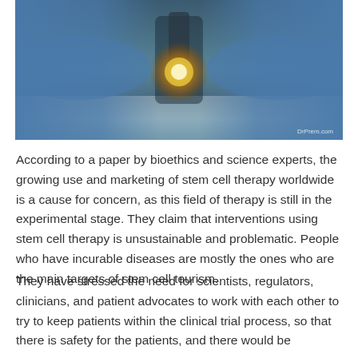[Figure (photo): Photograph of scientists in blue gloves using a microscope, with warm golden glowing light from microscope lens, laboratory setting. Watermark reads DrPrem.com in bottom right corner.]
According to a paper by bioethics and science experts, the growing use and marketing of stem cell therapy worldwide is a cause for concern, as this field of therapy is still in the experimental stage. They claim that interventions using stem cell therapy is unsustainable and problematic. People who have incurable diseases are mostly the ones who are the main targets of stem cell tourism.
They have stressed the need for scientists, regulators, clinicians, and patient advocates to work with each other to try to keep patients within the clinical trial process, so that there is safety for the patients, and there would be